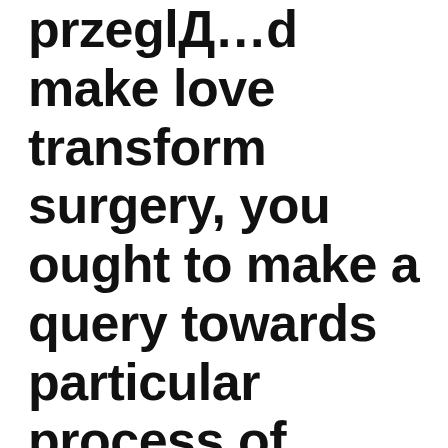przeglД…d make love transform surgery, you ought to make a query towards particular process of brand new procedure and its own ill effects